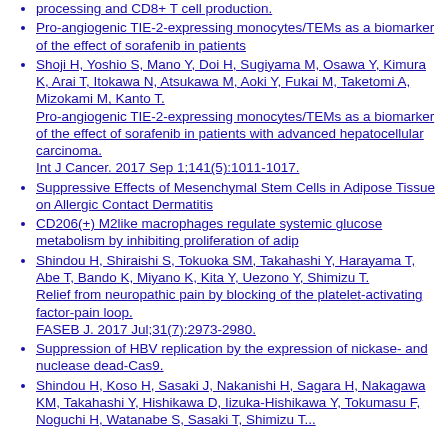processing and CD8+ T cell production.
Pro-angiogenic TIE-2-expressing monocytes/TEMs as a biomarker of the effect of sorafenib in patients
Shoji H, Yoshio S, Mano Y, Doi H, Sugiyama M, Osawa Y, Kimura K, Arai T, Itokawa N, Atsukawa M, Aoki Y, Fukai M, Taketomi A, Mizokami M, Kanto T. Pro-angiogenic TIE-2-expressing monocytes/TEMs as a biomarker of the effect of sorafenib in patients with advanced hepatocellular carcinoma. Int J Cancer. 2017 Sep 1;141(5):1011-1017.
Suppressive Effects of Mesenchymal Stem Cells in Adipose Tissue on Allergic Contact Dermatitis
CD206(+) M2like macrophages regulate systemic glucose metabolism by inhibiting proliferation of adip
Shindou H, Shiraishi S, Tokuoka SM, Takahashi Y, Harayama T, Abe T, Bando K, Miyano K, Kita Y, Uezono Y, Shimizu T. Relief from neuropathic pain by blocking of the platelet-activating factor-pain loop. FASEB J. 2017 Jul;31(7):2973-2980.
Suppression of HBV replication by the expression of nickase- and nuclease dead-Cas9.
Shindou H, Koso H, Sasaki J, Nakanishi H, Sagara H, Nakagawa KM, Takahashi Y, Hishikawa D, Iizuka-Hishikawa Y, Tokumasu F, Noguchi H, Watanabe S, Sasaki T, Shimizu T...